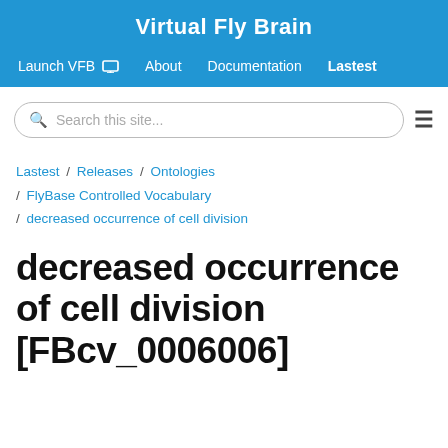Virtual Fly Brain
Launch VFB  About  Documentation  Lastest
Search this site...
Lastest / Releases / Ontologies / FlyBase Controlled Vocabulary / decreased occurrence of cell division
decreased occurrence of cell division [FBcv_0006006]